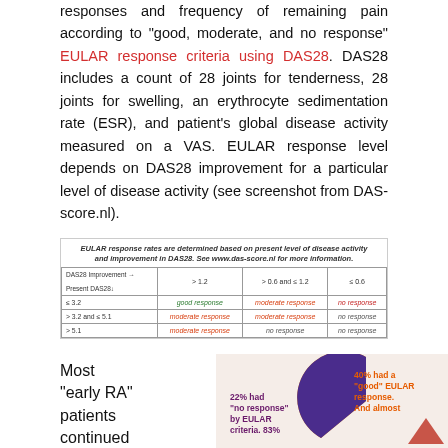responses and frequency of remaining pain according to "good, moderate, and no response" EULAR response criteria using DAS28. DAS28 includes a count of 28 joints for tenderness, 28 joints for swelling, an erythrocyte sedimentation rate (ESR), and patient's global disease activity measured on a VAS. EULAR response level depends on DAS28 improvement for a particular level of disease activity (see screenshot from DAS-score.nl).
[Figure (table-as-image): EULAR response rates table showing DAS28 improvement vs present DAS28 levels. Good response, moderate response, no response cells shown in green, orange, and red respectively.]
[Figure (pie-chart): Pie chart showing 22% had no response by EULAR criteria (83% ...) and 40% had a good EULAR response (And almost...)]
Most "early RA" patients continued